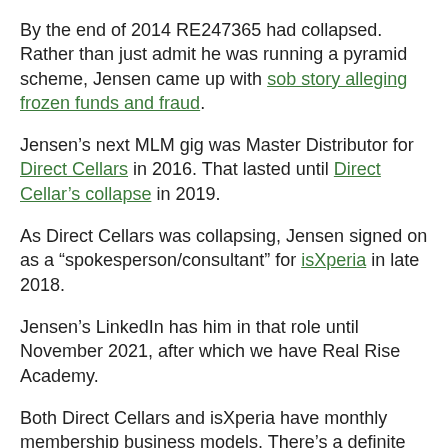By the end of 2014 RE247365 had collapsed. Rather than just admit he was running a pyramid scheme, Jensen came up with sob story alleging frozen funds and fraud.
Jensen's next MLM gig was Master Distributor for Direct Cellars in 2016. That lasted until Direct Cellar's collapse in 2019.
As Direct Cellars was collapsing, Jensen signed on as a "spokesperson/consultant" for isXperia in late 2018.
Jensen's LinkedIn has him in that role until November 2021, after which we have Real Rise Academy.
Both Direct Cellars and isXperia have monthly membership business models. There's a definite theme to the type of MLM opportunities Jensen gets involved in.
The last thing I want touch on is Real Rise Academy's refund policy: